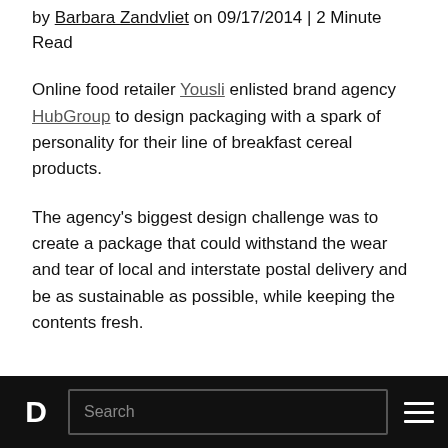by Barbara Zandvliet on 09/17/2014 | 2 Minute Read
Online food retailer Yousli enlisted brand agency HubGroup to design packaging with a spark of personality for their line of breakfast cereal products.
The agency's biggest design challenge was to create a package that could withstand the wear and tear of local and interstate postal delivery and be as sustainable as possible, while keeping the contents fresh.
D  Search  ≡